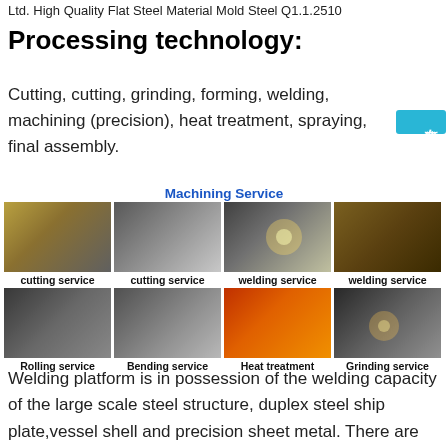Ltd. High Quality Flat Steel Material Mold Steel Q1.1.2510
Processing technology:
Cutting, cutting, grinding, forming, welding, machining (precision), heat treatment, spraying, final assembly.
Machining Service
[Figure (photo): Grid of 8 manufacturing service photos: cutting service (x2), welding service (x2), Rolling service, Bending service, Heat treatment, Grinding service]
Welding platform is in possession of the welding capacity of the large scale steel structure, duplex steel ship plate,vessel shell and precision sheet metal. There are several welding methods such as submerged arc automatic welding, narrow gap welding, argon arc